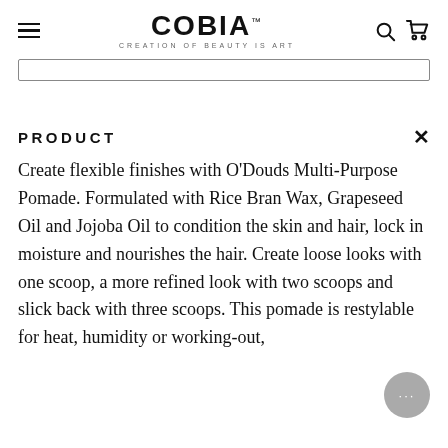COBIA — CREATION OF BEAUTY IS ART
PRODUCT
Create flexible finishes with O'Douds Multi-Purpose Pomade. Formulated with Rice Bran Wax, Grapeseed Oil and Jojoba Oil to condition the skin and hair, lock in moisture and nourishes the hair. Create loose looks with one scoop, a more refined look with two scoops and slick back with three scoops. This pomade is restylable for heat, humidity or working-out,